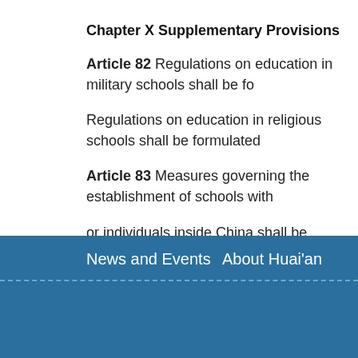Chapter X Supplementary Provisions
Article 82 Regulations on education in military schools shall be fo...
Regulations on education in religious schools shall be formulated...
Article 83 Measures governing the establishment of schools with...
or individuals inside China shall be formulated by the State Coun...
Article 84 This Law shall go into effect as of September 1, 1995.
News and Events   About Huai'an
[Figure (logo): Huai'an China government logo with red seal and website english.huaian.gov.cn]